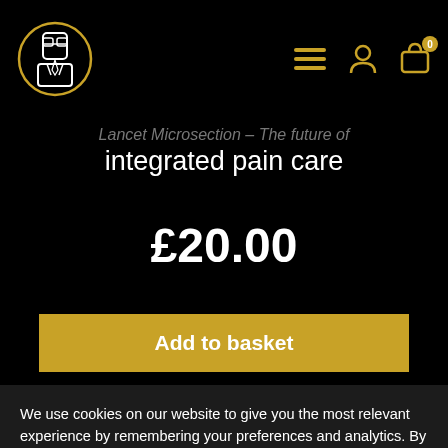[Figure (logo): Circular logo with a stylized figure wearing glasses and a suit, gold/white outline on black background]
Lancet Microsection – The future of integrated pain care
£20.00
Add to basket
We use cookies on our website to give you the most relevant experience by remembering your preferences and analytics. By clicking "Accept All", you consent to the use of ALL the cookies. However, you may visit "Cookie Settings" to provide a controlled consent.
Cookie Settings
Accept All